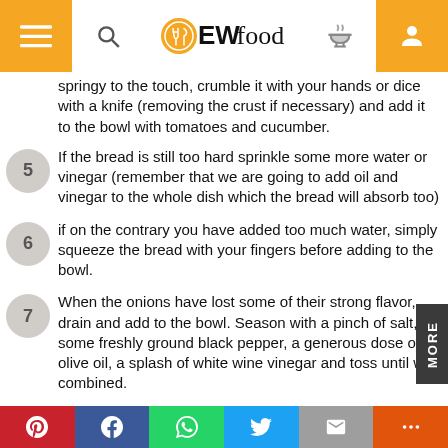EWfood navigation bar
springy to the touch, crumble it with your hands or dice with a knife (removing the crust if necessary) and add it to the bowl with tomatoes and cucumber.
5 If the bread is still too hard sprinkle some more water or vinegar (remember that we are going to add oil and vinegar to the whole dish which the bread will absorb too)
6 if on the contrary you have added too much water, simply squeeze the bread with your fingers before adding to the bowl.
7 When the onions have lost some of their strong flavor, drain and add to the bowl. Season with a pinch of salt, some freshly ground black pepper, a generous dose of olive oil, a splash of white wine vinegar and toss until well combined.
Social share bar: Pinterest, Facebook, WhatsApp, Twitter, Email, More